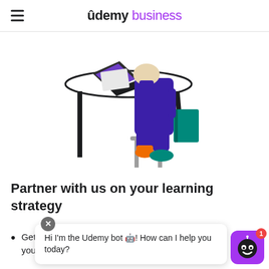≡  ûdemy business
[Figure (illustration): Illustration of a person in purple outfit sitting at a desk with a laptop, holding a teal book, with orange shoes]
Partner with us on your learning strategy
Get a l[earning solution] c[ustomized to] your needs
Hi I'm the Udemy bot 🤖! How can I help you today?